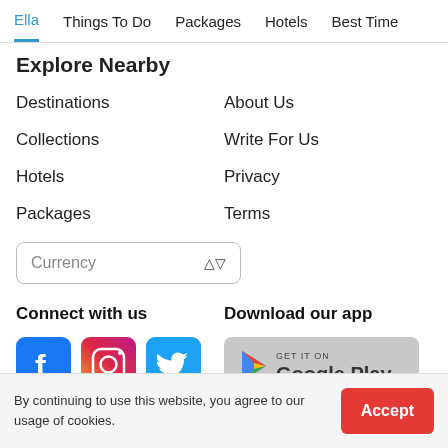Ella | Things To Do | Packages | Hotels | Best Time
Explore Nearby
Destinations
About Us
Collections
Write For Us
Hotels
Privacy
Packages
Terms
Currency
Connect with us
[Figure (logo): Facebook logo icon - blue square with white F]
[Figure (logo): Instagram logo icon - gradient square with camera outline]
[Figure (logo): Twitter logo icon - blue square with white bird]
Download our app
[Figure (logo): Google Play store badge - grey rounded rectangle with play triangle logo and text GET IT ON Google Play]
By continuing to use this website, you agree to our usage of cookies.
Accept